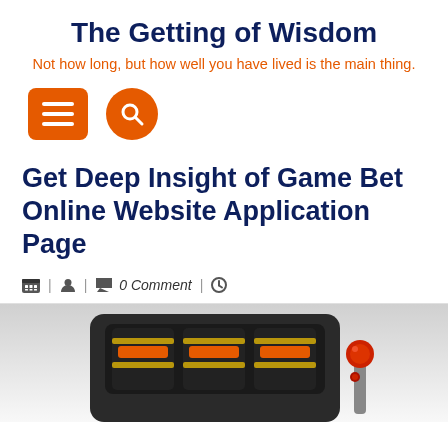The Getting of Wisdom
Not how long, but how well you have lived is the main thing.
[Figure (infographic): Orange hamburger menu button (square with three white lines) and orange circular search button with magnifying glass icon]
Get Deep Insight of Game Bet Online Website Application Page
📅 | 👤 | 💬 0 Comment | 🕐
[Figure (photo): Slot machine image with orange and black reels showing game symbols, with a lever/handle on the right side, on a grey gradient background]